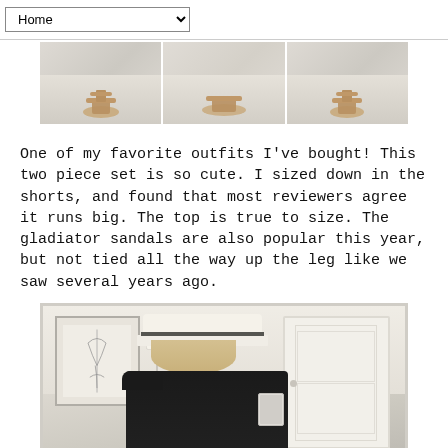Home
[Figure (photo): Three-panel image strip showing sandals/gladiator shoes on a tiled floor, viewed from above]
One of my favorite outfits I've bought! This two piece set is so cute. I sized down in the shorts, and found that most reviewers agree it runs big. The top is true to size. The gladiator sandals are also popular this year, but not tied all the way up the leg like we saw several years ago.
[Figure (photo): Mirror selfie of a blonde woman wearing a white Panama hat with black band and a black off-shoulder top, taken in a bright room with framed art and a lamp visible in the mirror]